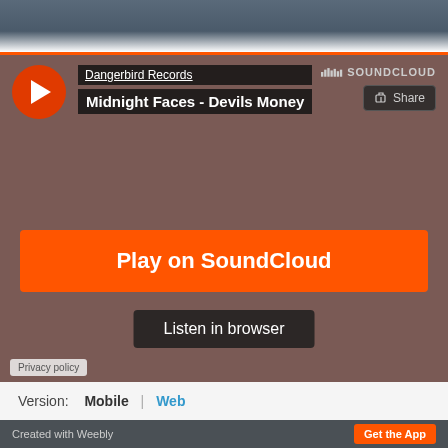[Figure (screenshot): Top portion of a webpage showing a dark blue/grey background image]
[Figure (screenshot): SoundCloud embedded music player widget with brownish-red background. Shows Dangerbird Records artist, track 'Midnight Faces - Devils Money', play button, SoundCloud branding, Share button, orange 'Play on SoundCloud' button, and 'Listen in browser' button. Privacy policy link at bottom left.]
Version:  Mobile  |  Web
Created with Weebly   Get the App